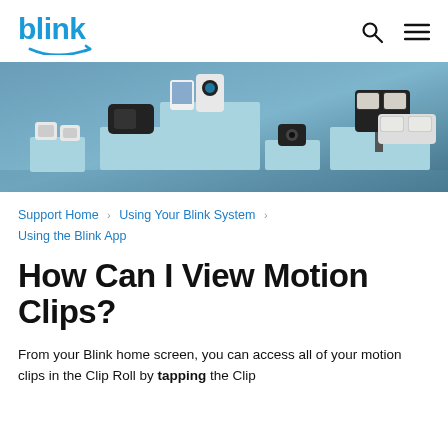blink
[Figure (photo): Hero banner showing multiple Blink security cameras and doorbells arranged on light blue pedestals against a steel blue background]
Support Home > Using Your Blink System > Using the Blink App
How Can I View Motion Clips?
From your Blink home screen, you can access all of your motion clips in the Clip Roll by tapping the Clip